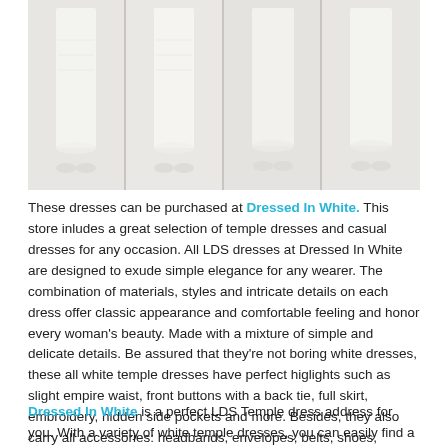[Figure (photo): Four women wearing long white temple dresses, shown from approximately the waist down, standing on a light-colored floor against a light background. Four panels side by side.]
These dresses can be purchased at Dressed In White. This store inludes a great selection of temple dresses and casual dresses for any occasion. All LDS dresses at Dressed In White are designed to exude simple elegance for any wearer. The combination of materials, styles and intricate details on each dress offer classic appearance and comfortable feeling and honor every woman's beauty. Made with a mixture of simple and delicate details. Be assured that they're not boring white dresses, these all white temple dresses have perfect higlights such as slight empire waist, front buttons with a back tie, full skirt, embroidery, hidden side pockets and more. Besides, they also carry all accessories: headbands, envelopes, belts, shoes, jewelry, gloves, blankets and hair accessories, hankies, panty hose and more.
Dressed In White is a perfect LDS Temple dress address for you. With a variety of white temple dresses, you can easily find a LDS